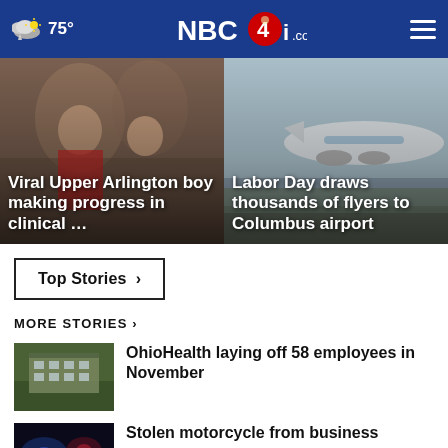75° NBC4i.com
[Figure (photo): Viral Upper Arlington boy making progress in clinical trial - children smiling photo]
[Figure (photo): Labor Day draws thousands of flyers to Columbus airport - airplane on tarmac photo]
Top Stories ›
MORE STORIES ›
[Figure (photo): OhioHealth building exterior - green lawn thumbnail]
OhioHealth laying off 58 employees in November
[Figure (photo): Stolen motorcycle from business - dark police lights thumbnail]
Stolen motorcycle from business